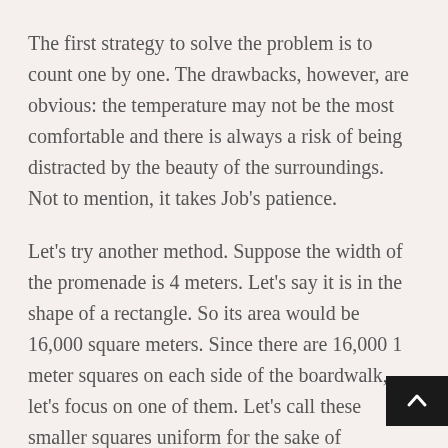The first strategy to solve the problem is to count one by one. The drawbacks, however, are obvious: the temperature may not be the most comfortable and there is always a risk of being distracted by the beauty of the surroundings. Not to mention, it takes Job’s patience.
Let’s try another method. Suppose the width of the promenade is 4 meters. Let’s say it is in the shape of a rectangle. So its area would be 16,000 square meters. Since there are 16,000 1 meter squares on each side of the boardwalk, let’s focus on one of them. Let’s call these smaller squares uniform for the sake of simplicity.
The idea is simple: if we know how many stones th… are in a unit square, just multiply the answer by 16,000